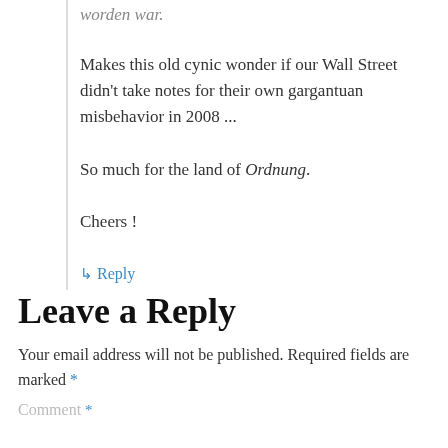worden war.
Makes this old cynic wonder if our Wall Street didn't take notes for their own gargantuan misbehavior in 2008 ...
So much for the land of Ordnung.
Cheers !
↳ Reply
Leave a Reply
Your email address will not be published. Required fields are marked *
Comment *